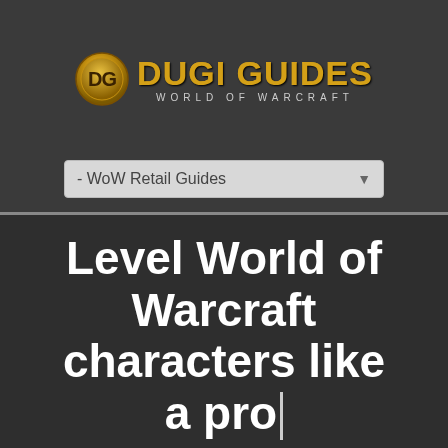[Figure (logo): Dugi Guides logo with gold coin DG emblem and gold text 'DUGI GUIDES' with subtitle 'WORLD OF WARCRAFT']
- WoW Retail Guides
Level World of Warcraft characters like a pro
Learn how to level Shadowlands characters solo from level 1 to 50 and 50 to